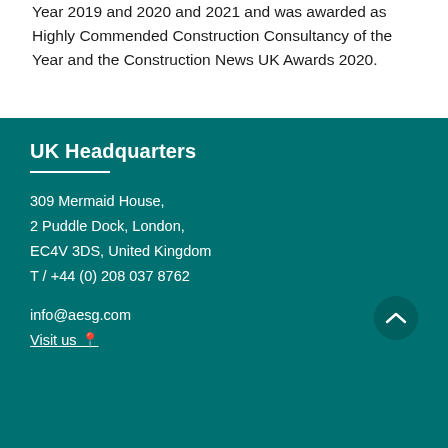Year 2019 and 2020 and 2021 and was awarded as Highly Commended Construction Consultancy of the Year and the Construction News UK Awards 2020.
UK Headquarters
309 Mermaid House,
2 Puddle Dock, London,
EC4V 3DS, United Kingdom
T / +44 (0) 208 037 8762
info@aesg.com
Visit us 📍